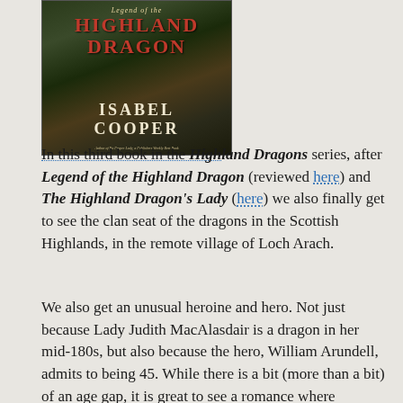[Figure (photo): Book cover of 'Legend of the Highland Dragon' by Isabel Cooper, showing a dark fantasy scene with red title text and white author name]
In this third book in the Highland Dragons series, after Legend of the Highland Dragon (reviewed here) and The Highland Dragon's Lady (here) we also finally get to see the clan seat of the dragons in the Scottish Highlands, in the remote village of Loch Arach.
We also get an unusual heroine and hero. Not just because Lady Judith MacAlasdair is a dragon in her mid-180s, but also because the hero, William Arundell, admits to being 45. While there is a bit (more than a bit) of an age gap, it is great to see a romance where